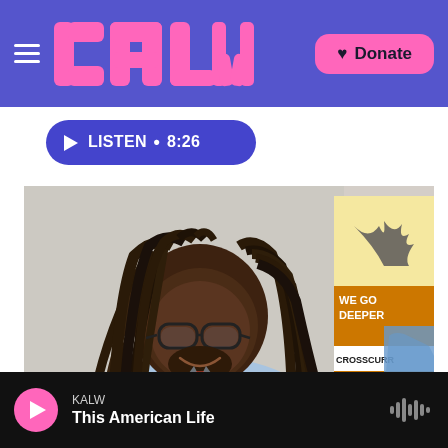KALW — Donate
LISTEN • 8:26
[Figure (photo): A man with long dreadlocks wearing glasses and a light blue shirt, smiling at the camera. Behind him is a KALW 91.7 FM 'Crosscurrents: We Go Deeper' poster on a white cinder-block wall. A second person in a blue top is partially visible at the right edge.]
Steve Drown /
KALW — This American Life